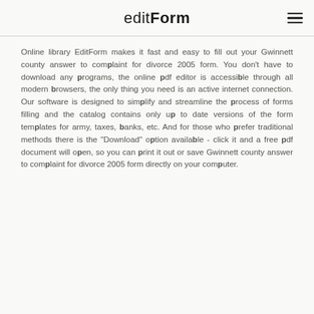editForm
Online library EditForm makes it fast and easy to fill out your Gwinnett county answer to complaint for divorce 2005 form. You don't have to download any programs, the online pdf editor is accessible through all modern browsers, the only thing you need is an active internet connection. Our software is designed to simplify and streamline the process of forms filling and the catalog contains only up to date versions of the form templates for army, taxes, banks, etc. And for those who prefer traditional methods there is the "Download" option available - click it and a free pdf document will open, so you can print it out or save Gwinnett county answer to complaint for divorce 2005 form directly on your computer.